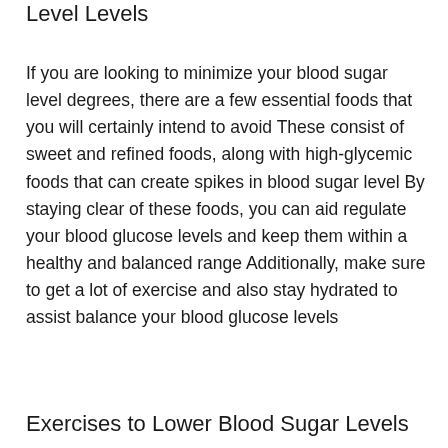Level Levels
If you are looking to minimize your blood sugar level degrees, there are a few essential foods that you will certainly intend to avoid These consist of sweet and refined foods, along with high-glycemic foods that can create spikes in blood sugar level By staying clear of these foods, you can aid regulate your blood glucose levels and keep them within a healthy and balanced range Additionally, make sure to get a lot of exercise and also stay hydrated to assist balance your blood glucose levels
Exercises to Lower Blood Sugar Levels